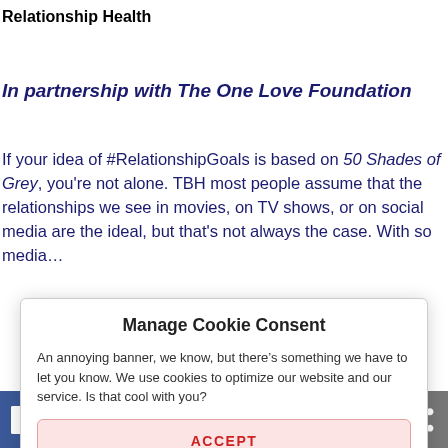Relationship Health
In partnership with The One Love Foundation
If your idea of #RelationshipGoals is based on 50 Shades of Grey, you're not alone. TBH most people assume that the relationships we see in movies, on TV shows, or on social media are the ideal, but that's not always the case. With so media…
Manage Cookie Consent

An annoying banner, we know, but there's something we have to let you know. We use cookies to optimize our website and our service. Is that cool with you?

ACCEPT
[Figure (infographic): Social share bar with icons: Facebook (blue), Twitter (light blue), Reddit (orange-red), LinkedIn (dark blue), Pinterest (red), MeWe (teal), Mix (orange), WhatsApp (green), Share (gray)]